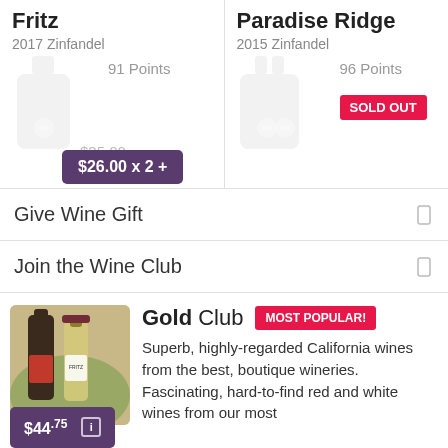Fritz
2017 Zinfandel
91 Points
$35.00
$26.00 x 2 +
Paradise Ridge
2015 Zinfandel
96 Points
SOLD OUT
Give Wine Gift
Join the Wine Club
Gold Club
MOST POPULAR!
Superb, highly-regarded California wines from the best, boutique wineries. Fascinating, hard-to-find red and white wines from our most
$44.75